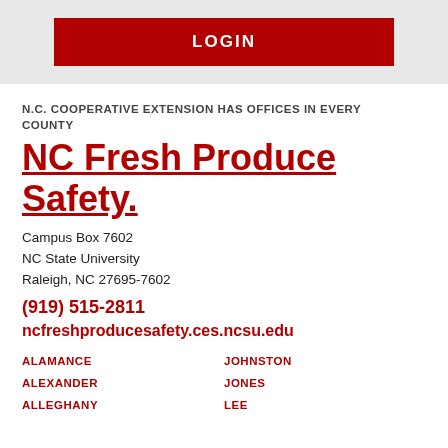[Figure (other): Red LOGIN button on gray background]
N.C. COOPERATIVE EXTENSION HAS OFFICES IN EVERY COUNTY
NC Fresh Produce Safety.
Campus Box 7602
NC State University
Raleigh, NC 27695-7602
(919) 515-2811
ncfreshproducesafety.ces.ncsu.edu
ALAMANCE
JOHNSTON
ALEXANDER
JONES
ALLEGHANY
LEE